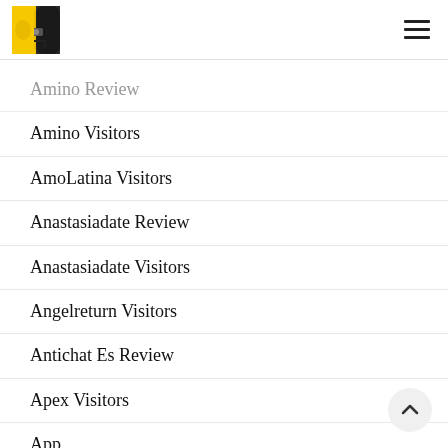Logo and navigation menu icon
Amino Review
Amino Visitors
AmoLatina Visitors
Anastasiadate Review
Anastasiadate Visitors
Angelreturn Visitors
Antichat Es Review
Apex Visitors
App